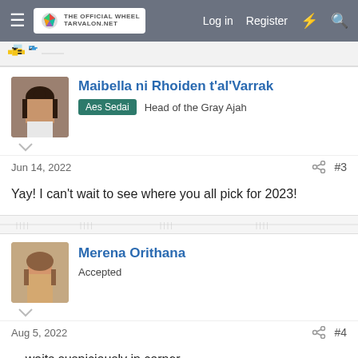Tarvalon.net — Log in  Register
[Figure (illustration): Pixel art bee/character logo icon on a decorative divider bar]
Maibella ni Rhoiden t'al'Varrak
Aes Sedai  Head of the Gray Ajah
Jun 14, 2022  #3
Yay! I can't wait to see where you all pick for 2023!
Merena Orithana
Accepted
Aug 5, 2022  #4
....waits suspiciously in corner....